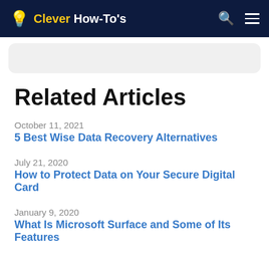Clever How-To's
Related Articles
October 11, 2021
5 Best Wise Data Recovery Alternatives
July 21, 2020
How to Protect Data on Your Secure Digital Card
January 9, 2020
What Is Microsoft Surface and Some of Its Features